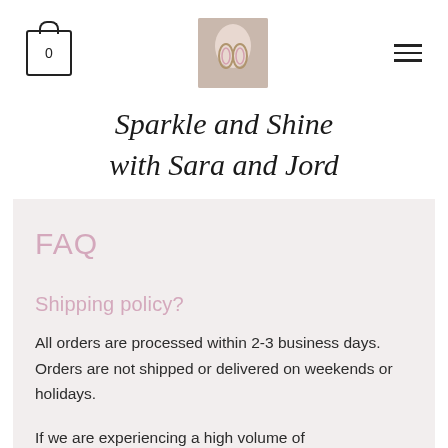Shopping cart: 0 | Logo image | Navigation menu
Sparkle and Shine with Sara and Jord
FAQ
Shipping policy?
All orders are processed within 2-3 business days. Orders are not shipped or delivered on weekends or holidays.
If we are experiencing a high volume of